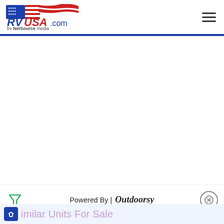[Figure (logo): RVUSA.com by NetSource media logo with American flag graphic]
Powered By | Outdoorsy
Similar Units For Sale